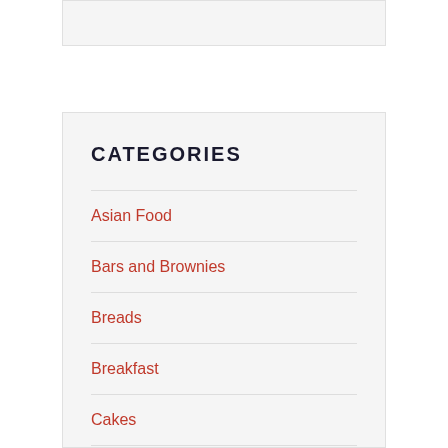CATEGORIES
Asian Food
Bars and Brownies
Breads
Breakfast
Cakes
Candies/Confections
Cookies
Crumbles/Crisps